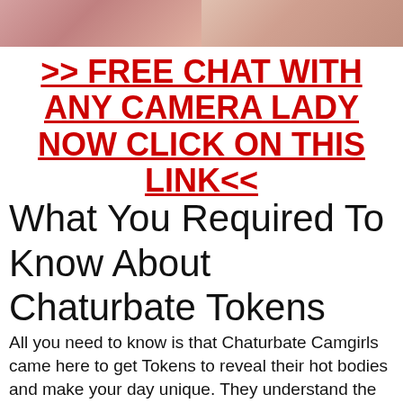[Figure (photo): Two cropped photo thumbnails side by side at top of page, partially visible]
>> FREE CHAT WITH ANY CAMERA LADY NOW CLICK ON THIS LINK<<
What You Required To Know About Chaturbate Tokens
All you need to know is that Chaturbate Camgirls came here to get Tokens to reveal their hot bodies and make your day unique. They understand the importance of Token as a gift from web cam woman, which will help